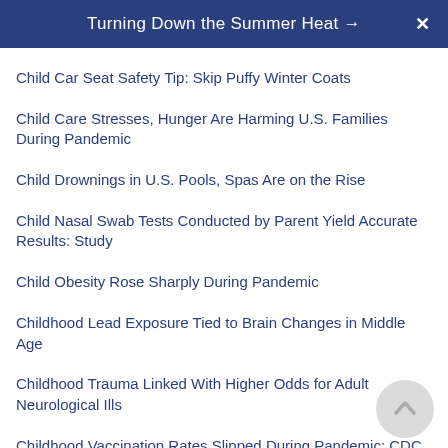Turning Down the Summer Heat →
Child Car Seat Safety Tip: Skip Puffy Winter Coats
Child Care Stresses, Hunger Are Harming U.S. Families During Pandemic
Child Drownings in U.S. Pools, Spas Are on the Rise
Child Nasal Swab Tests Conducted by Parent Yield Accurate Results: Study
Child Obesity Rose Sharply During Pandemic
Childhood Lead Exposure Tied to Brain Changes in Middle Age
Childhood Trauma Linked With Higher Odds for Adult Neurological Ills
Childhood Vaccination Rates Slipped During Pandemic: CDC
Children Use Both Sides of the Brain to Understand…